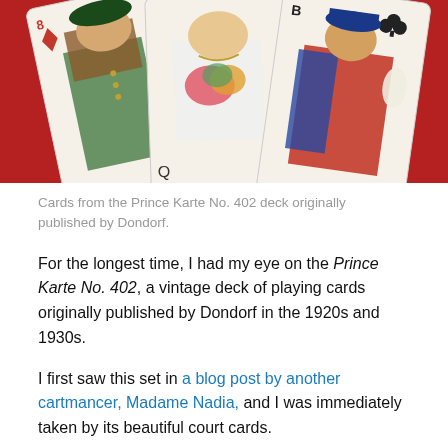[Figure (photo): Three illustrated playing cards from the Prince Karte No. 402 deck fanned out on a red surface. Left card shows a Jack of Diamonds with a figure in a green feathered hat. Middle card shows a Queen figure holding flowers. Right card shows a card labeled B (clubs) with a figure in a blue hat and red coat.]
Cards from the Prince Karte No. 402 deck originally published by Dondorf.
For the longest time, I had my eye on the Prince Karte No. 402, a vintage deck of playing cards originally published by Dondorf in the 1920s and 1930s.
I first saw this set in a blog post by another cartmancer, Madame Nadia, and I was immediately taken by its beautiful court cards.